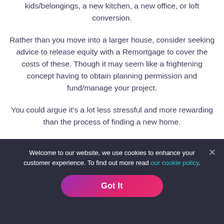kids/belongings, a new kitchen, a new office, or loft conversion.
Rather than you move into a larger house, consider seeking advice to release equity with a Remortgage to cover the costs of these. Though it may seem like a frightening concept having to obtain planning permission and fund/manage your project.
You could argue it's a lot less stressful and more rewarding than the process of finding a new home.
Welcome to our website, we use cookies to enhance your customer experience. To find out more read our cookie policy.